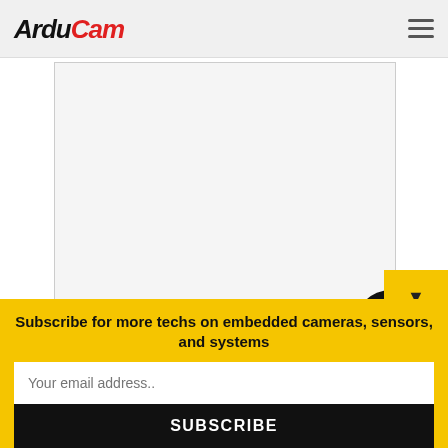ArduCam
[Figure (photo): Camera board product image placeholder (light gray rectangle)]
- Figure1. Camera Board
Subscribe for more techs on embedded cameras, sensors, and systems
Your email address..
SUBSCRIBE